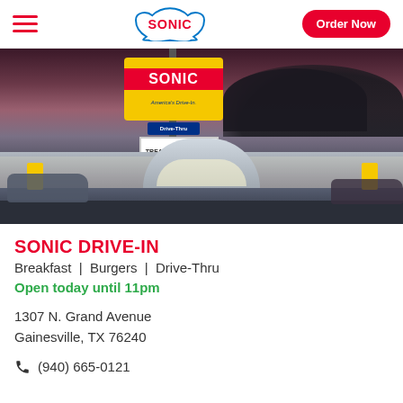SONIC | Order Now
[Figure (photo): Exterior nighttime photo of a Sonic Drive-In restaurant with illuminated signage reading SONIC America's Drive-In and a marquee sign saying TREAT YOURSELF TO A STRAWBERRY CHEESECAKE SHAKE. The restaurant has a large canopy with drive-in stalls, wet pavement reflecting lights, cars parked at stalls.]
SONIC DRIVE-IN
Breakfast | Burgers | Drive-Thru
Open today until 11pm
1307 N. Grand Avenue
Gainesville, TX 76240
(940) 665-0121